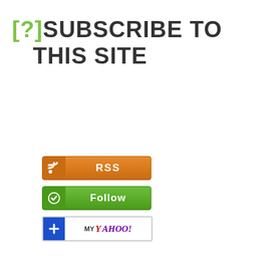[?]SUBSCRIBE TO THIS SITE
[Figure (other): RSS subscription button - orange button with RSS icon and text 'RSS']
[Figure (other): Follow button - green button with follow icon and text 'Follow']
[Figure (other): My Yahoo! subscription button - white button with blue plus icon and 'MY YAHOO!' text]